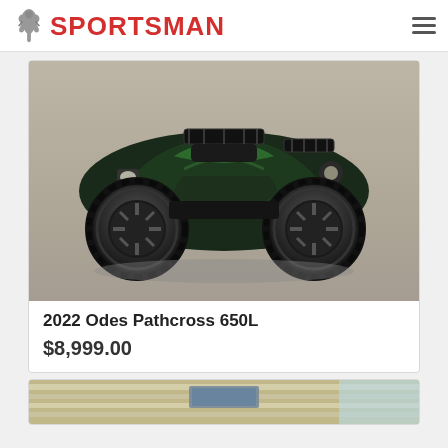SPORTSMAN
[Figure (photo): Photo of a 2022 Odes Pathcross 650L ATV (four-wheeler), dark green/black color, parked on a concrete surface, viewed from the front-left side.]
2022 Odes Pathcross 650L
$8,999.00
[Figure (photo): Partial photo of a second product listing (RV/trailer), only the top portion visible.]